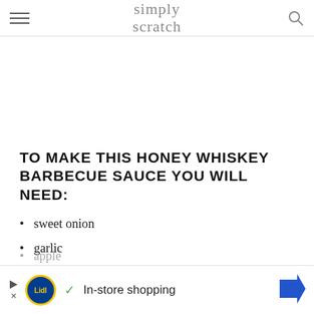simply scratch
TO MAKE THIS HONEY WHISKEY BARBECUE SAUCE YOU WILL NEED:
sweet onion
garlic
honey whiskey or bourbon
homemade ketchup
apple
kin...